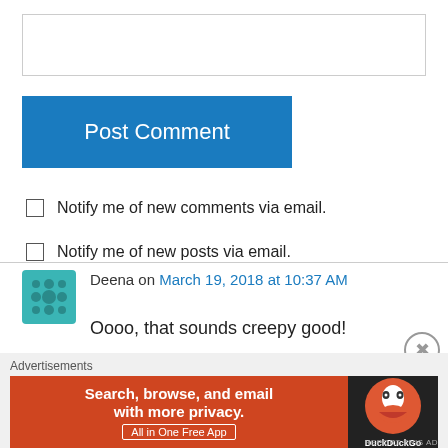[Figure (screenshot): Text input box for comment entry]
Post Comment
Notify me of new comments via email.
Notify me of new posts via email.
Deena on March 19, 2018 at 10:37 AM
Oooo, that sounds creepy good!
Reply
Advertisements
[Figure (screenshot): DuckDuckGo advertisement banner: Search, browse, and email with more privacy. All in One Free App]